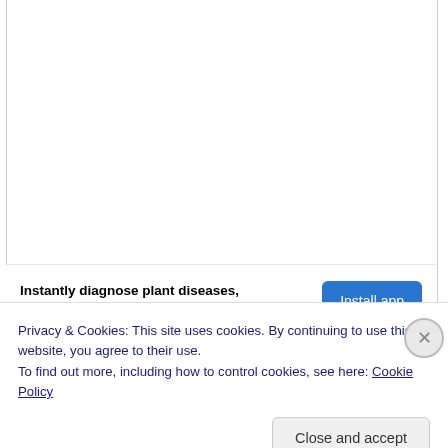Instantly diagnose plant diseases, plant care guide.
Install app
Privacy & Cookies: This site uses cookies. By continuing to use this website, you agree to their use.
To find out more, including how to control cookies, see here: Cookie Policy
Close and accept